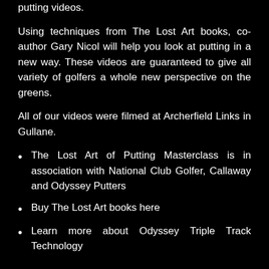putting videos.
Using techniques from The Lost Art books, co-author Gary Nicol will help you look at putting in a new way. These videos are guaranteed to give all variety of golfers a whole new perspective on the greens.
All of our videos were filmed at Archerfield Links in Gullane.
The Lost Art of Putting Masterclass is in association with National Club Golfer, Callaway and Odyssey Putters
Buy The Lost Art books here
Learn more about Odyssey Triple Track Technology